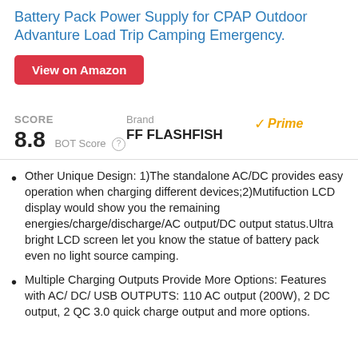Battery Pack Power Supply for CPAP Outdoor Advanture Load Trip Camping Emergency.
View on Amazon
SCORE 8.8 BOT Score
Brand FF FLASHFISH
Prime
Other Unique Design: 1)The standalone AC/DC provides easy operation when charging different devices;2)Mutifuction LCD display would show you the remaining energies/charge/discharge/AC output/DC output status.Ultra bright LCD screen let you know the statue of battery pack even no light source camping.
Multiple Charging Outputs Provide More Options: Features with AC/ DC/ USB OUTPUTS: 110 AC output (200W), 2 DC output, 2 QC 3.0 quick charge output and more options.